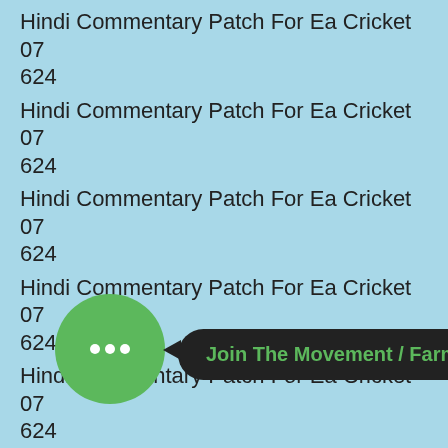Hindi Commentary Patch For Ea Cricket 07 624
Hindi Commentary Patch For Ea Cricket 07 624
Hindi Commentary Patch For Ea Cricket 07 624
Hindi Commentary Patch For Ea Cricket 07 624
Hindi Commentary Patch For Ea Cricket 07 624
Hindi Commentary Patch For Ea Cricket 07 624
Hindi Commentary Patch For Ea Cricket 07 624
[Figure (infographic): Green circular chat bubble icon with three dots, arrow pointing right to a black rounded pill button with green text reading 'Join The Movement / Farm']